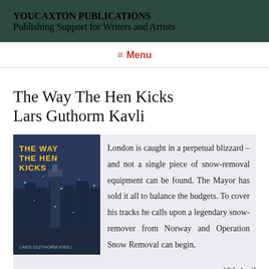YOUCAXTON PUBLICATIONS
Publishing Support for Writers and Artists
≡ Menu
The Way The Hen Kicks
Lars Guthorm Kavli
[Figure (photo): Book cover of 'The Way The Hen Kicks' by Lars Guthorm Kavli, dark background with city/snowy imagery and yellow title text]
London is caught in a perpetual blizzard – and not a single piece of snow-removal equipment can be found. The Mayor has sold it all to balance the budgets. To cover his tracks he calls upon a legendary snow-remover from Norway and Operation Snow Removal can begin.
15th April
Published